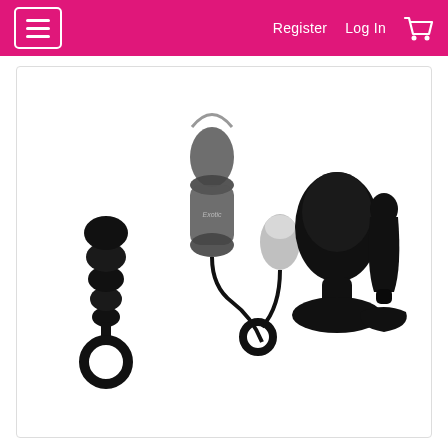Register  Log In  (0)
[Figure (photo): Product photo showing an adult toy kit with multiple black silicone items including anal beads with ring, a grey bullet vibrator with cord and silver egg vibrator, a large black anal plug, and a small black anal plug, all on white background]